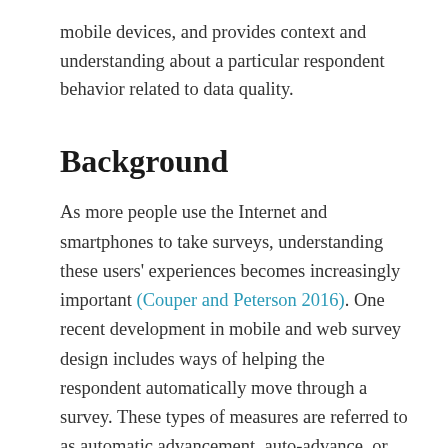mobile devices, and provides context and understanding about a particular respondent behavior related to data quality.
Background
As more people use the Internet and smartphones to take surveys, understanding these users' experiences becomes increasingly important (Couper and Peterson 2016). One recent development in mobile and web survey design includes ways of helping the respondent automatically move through a survey. These types of measures are referred to as automatic advancement, auto-advance, or auto-